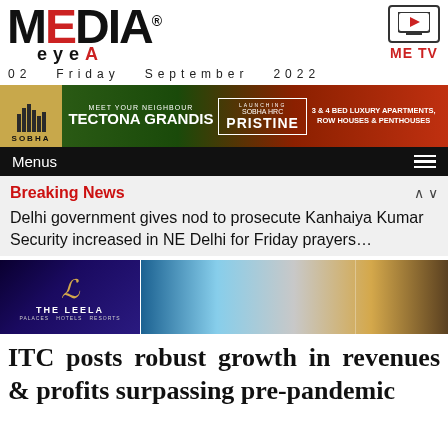MEDIA eye® ME TV — 02 Friday September 2022
[Figure (advertisement): SOBHA real estate ad: MEET YOUR NEIGHBOUR TECTONA GRANDIS | LAUNCHING SOBHA HRC PRISTINE | 3 & 4 BED LUXURY APARTMENTS, ROW HOUSES & PENTHOUSES]
Menus
Breaking News
Delhi government gives nod to prosecute Kanhaiya Kumar Security increased in NE Delhi for Friday prayers…
[Figure (advertisement): The Leela hotel advertisement with luxury hotel imagery]
ITC posts robust growth in revenues & profits surpassing pre-pandemic